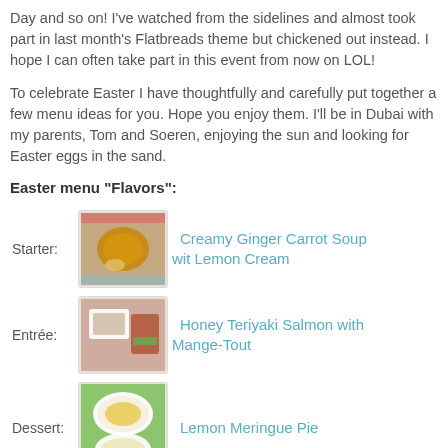Day and so on! I've watched from the sidelines and almost took part in last month's Flatbreads theme but chickened out instead. I hope I can often take part in this event from now on LOL!
To celebrate Easter I have thoughtfully and carefully put together a few menu ideas for you. Hope you enjoy them. I'll be in Dubai with my parents, Tom and Soeren, enjoying the sun and looking for Easter eggs in the sand.
Easter menu "Flavors":
Starter: Creamy Ginger Carrot Soup wit Lemon Cream
Entrée: Honey Teriyaki Salmon with Mange-Tout
Dessert: Lemon Meringue Pie